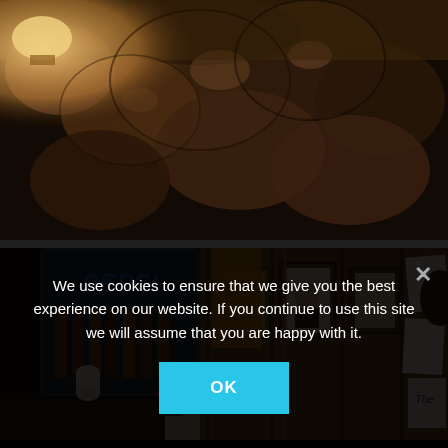[Figure (photo): Close-up photo of dark rocky/stone surface with brown fur or animal texture visible, warm amber lighting in upper left corner]
[Figure (photo): Interior of a rustic store or diner with a Pepsi refrigerator display case, an older man wearing a red baseball cap, and walls covered with framed artwork, pictures and decorations]
We use cookies to ensure that we give you the best experience on our website. If you continue to use this site we will assume that you are happy with it.